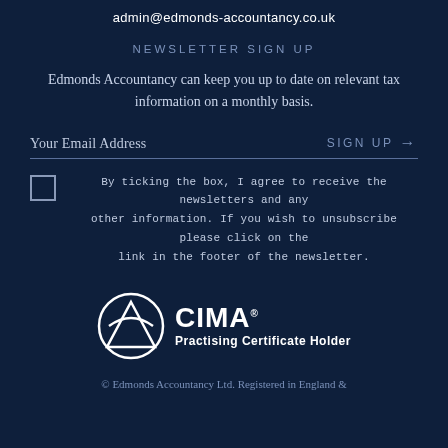admin@edmonds-accountancy.co.uk
NEWSLETTER SIGN UP
Edmonds Accountancy can keep you up to date on relevant tax information on a monthly basis.
Your Email Address  SIGN UP →
By ticking the box, I agree to receive the newsletters and any other information. If you wish to unsubscribe please click on the link in the footer of the newsletter.
[Figure (logo): CIMA Practising Certificate Holder logo with globe/triangle symbol]
© Edmonds Accountancy Ltd. Registered in England &